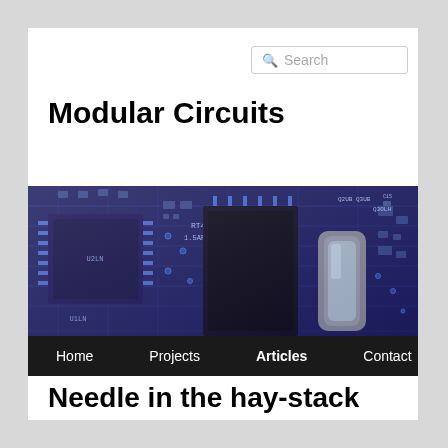Search
Modular Circuits
[Figure (photo): Close-up photograph of a blue printed circuit board (PCB) with various electronic components including microchips, capacitors, resistors, and labeled components such as RT4BU, 1.5ART5BU, Q2UB, Q3UB, Q30LH, U2LN, U1LN, and a silver crystal oscillator.]
Home   Projects   Articles   Contact
Needle in the hay-stack